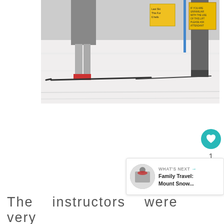[Figure (photo): Photo of people skiing on a snow slope, showing legs and skis in foreground, with yellow warning/information signs visible in the background, and a blue pole. Snow covers the ground.]
The instructors were very